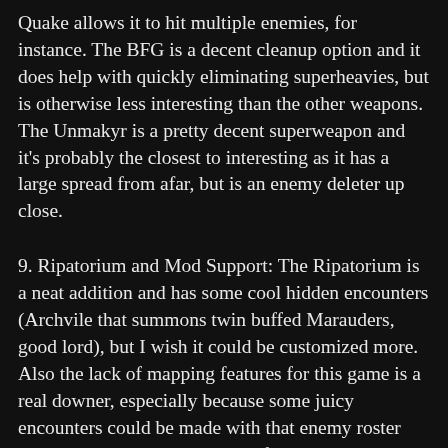Quake allows it to hit multiple enemies, for instance. The BFG is a decent cleanup option and it does help with quickly eliminating superheavies, but is otherwise less interesting than the other weapons. The Unmakyr is a pretty decent superweapon and it's probably the closest to interesting as it has a large spread from afar, but is an enemy deleter up close.
9. Ripatorium and Mod Support: The Ripatorium is a neat addition and has some cool hidden encounters (Archvile that summons twin buffed Marauders, good lord), but I wish it could be customized more. Also the lack of mapping features for this game is a real downer, especially because some juicy encounters could be made with that enemy roster and maybe even some neat platforming maps. The Master Levels do compensate for this partially, but I do hope for some mod support in the future. It might even be possible as